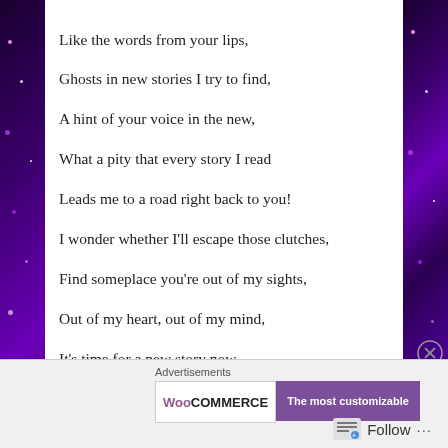Like the words from your lips,
Ghosts in new stories I try to find,
A hint of your voice in the new,
What a pity that every story I read
Leads me to a road right back to you!
I wonder whether I'll escape those clutches,
Find someplace you're out of my sights,
Out of my heart, out of my mind,
It's time for a new story now,
So here's where I say goodbye.
Advertisements
[Figure (other): Dark advertisement banner with text 'Teach freely' in teal/mint italic font on dark navy background]
Advertisements
[Figure (other): WooCommerce advertisement banner split: white left side with WooCommerce logo, purple right side with text 'The most customizable']
Follow